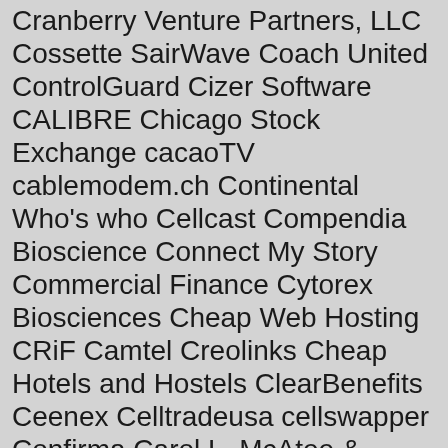Cranberry Venture Partners, LLC Cossette SairWave Coach United ControlGuard Cizer Software CALIBRE Chicago Stock Exchange cacaoTV cablemodem.ch Continental Who's who Cellcast Compendia Bioscience Connect My Story Commercial Finance Cytorex Biosciences Cheap Web Hosting CRiF Camtel Creolinks Cheap Hotels and Hostels ClearBenefits Ceenex Celltradeusa cellswapper Confirma Carol L. McAtee & Associates COSS Development CitizenGroove C.A.P.S. Technologies Choicehow.com Cloud18 Infotech Cosmi ControlPath CouponShack Cybercom Group UK Communisis Ctrl Alt Del Training Clearstone Venture Partners Coexis Copper Capitol GPA Catalyst Mobile ConforMIS Chimerix Comunidad Oracle Hispana Cumberland Pharmaceuticals CoolSystems CyberRead CriminalWatchDog.com Clickable Software Clayton Holdings Contractor Marketing Pros.com Campus Management Cavium Networks Chi-X Global Technology